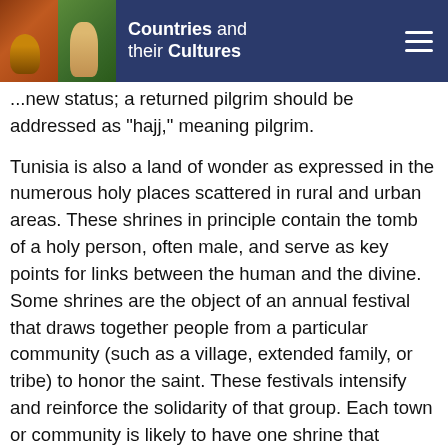Countries and their Cultures
...new status; a returned pilgrim should be addressed as "hajj," meaning pilgrim.
Tunisia is also a land of wonder as expressed in the numerous holy places scattered in rural and urban areas. These shrines in principle contain the tomb of a holy person, often male, and serve as key points for links between the human and the divine. Some shrines are the object of an annual festival that draws together people from a particular community (such as a village, extended family, or tribe) to honor the saint. These festivals intensify and reinforce the solidarity of that group. Each town or community is likely to have one shrine that serves as the symbolic focal point for that group. People make individual visits to a shrine for many other reasons, including a specific request for help from the shrine's "saint," or to thank the saint for favors granted. Thanking the saint may turn into an annual ritual of reconnection between the individual and the saint, and through the saint with God. Properly, only God can grant